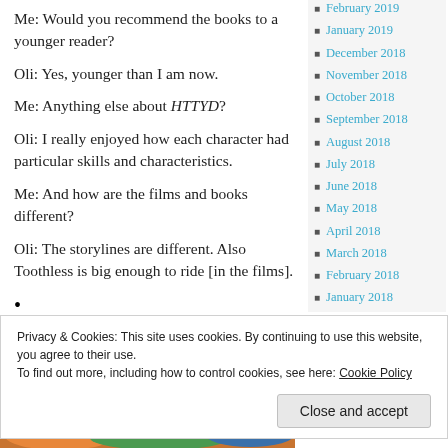Me: Would you recommend the books to a younger reader?
Oli: Yes, younger than I am now.
Me: Anything else about HTTYD?
Oli: I really enjoyed how each character had particular skills and characteristics.
Me: And how are the films and books different?
Oli: The storylines are different. Also Toothless is big enough to ride [in the films].
February 2019
January 2019
December 2018
November 2018
October 2018
September 2018
August 2018
July 2018
June 2018
May 2018
April 2018
March 2018
February 2018
January 2018
Privacy & Cookies: This site uses cookies. By continuing to use this website, you agree to their use.
To find out more, including how to control cookies, see here: Cookie Policy
Close and accept
[Figure (illustration): Partial view of a colorful dragon illustration at the bottom of the page]